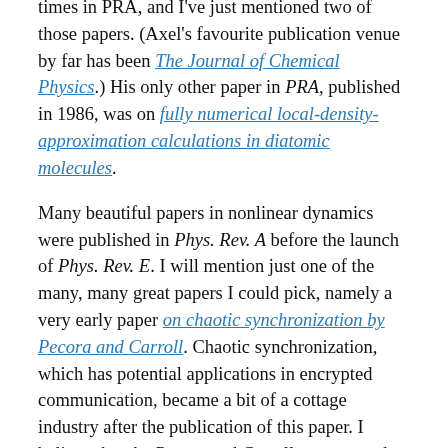times in PRA, and I've just mentioned two of those papers. (Axel's favourite publication venue by far has been The Journal of Chemical Physics.) His only other paper in PRA, published in 1986, was on fully numerical local-density-approximation calculations in diatomic molecules.
Many beautiful papers in nonlinear dynamics were published in Phys. Rev. A before the launch of Phys. Rev. E. I will mention just one of the many, many great papers I could pick, namely a very early paper on chaotic synchronization by Pecora and Carroll. Chaotic synchronization, which has potential applications in encrypted communication, became a bit of a cottage industry after the publication of this paper. I believe that the Pecora and Carroll paper was the first to introduce conditional Lyapunov exponents, which measure the extent to which the response to chaotic driving is predictable.
Currently, my favourite Phys. Rev. A paper is a little-known paper on radiation damping by William L. Burke, from volume 2 of the journal. This is a wonderful calculation that...